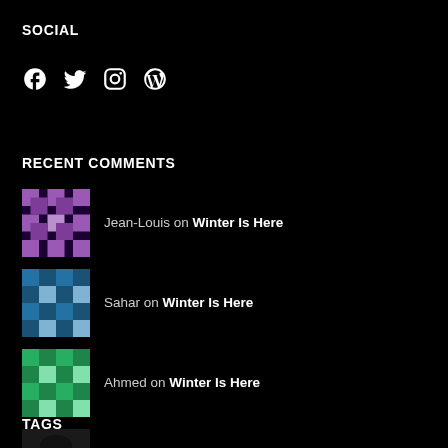SOCIAL
[Figure (other): Social media icons: Facebook, Twitter, Instagram, WordPress]
RECENT COMMENTS
Jean-Louis on Winter Is Here
Sahar on Winter Is Here
Ahmed on Winter Is Here
shoaibulbashar on The “Jar” of Happi...
Walid Hassan on Behind the Sea
TAGS